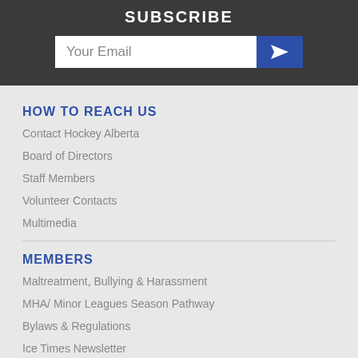SUBSCRIBE
Your Email
HOW TO REACH US
Contact Hockey Alberta
Board of Directors
Staff Members
Volunteer Contacts
Multimedia
MEMBERS
Maltreatment, Bullying & Harassment
MHA/ Minor Leagues Season Pathway
Bylaws & Regulations
Ice Times Newsletter